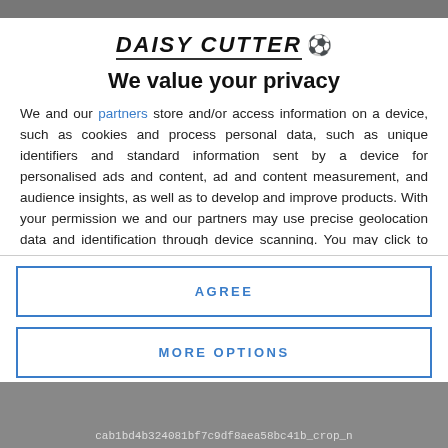[Figure (logo): Daisy Cutter logo with soccer ball emoji, stylized italic bold uppercase text]
We value your privacy
We and our partners store and/or access information on a device, such as cookies and process personal data, such as unique identifiers and standard information sent by a device for personalised ads and content, ad and content measurement, and audience insights, as well as to develop and improve products. With your permission we and our partners may use precise geolocation data and identification through device scanning. You may click to consent to our and our partners' processing as described above. Alternatively you may access more detailed information and change your preferences before consenting
AGREE
MORE OPTIONS
cab1bd4b324081bf7c9df8aea58bc41b_crop_n